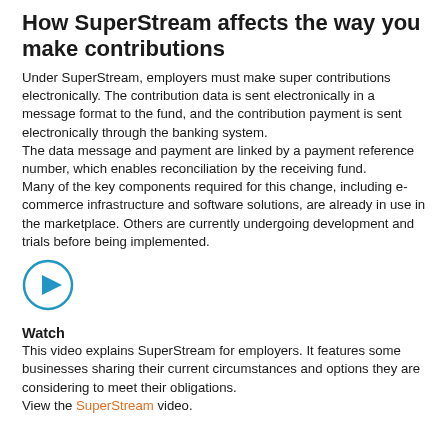How SuperStream affects the way you make contributions
Under SuperStream, employers must make super contributions electronically. The contribution data is sent electronically in a message format to the fund, and the contribution payment is sent electronically through the banking system.
The data message and payment are linked by a payment reference number, which enables reconciliation by the receiving fund.
Many of the key components required for this change, including e-commerce infrastructure and software solutions, are already in use in the marketplace. Others are currently undergoing development and trials before being implemented.
[Figure (illustration): A circular blue play button icon (video player button)]
Watch
This video explains SuperStream for employers. It features some businesses sharing their current circumstances and options they are considering to meet their obligations.
View the SuperStream video.